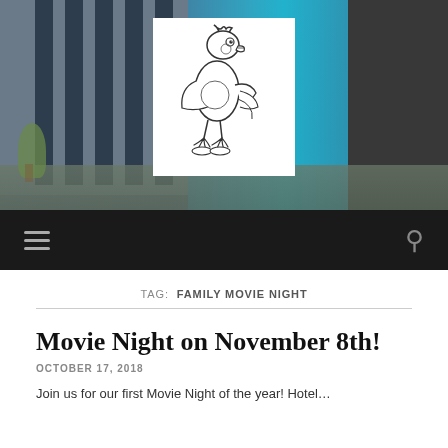[Figure (photo): Exterior of a modern building with dark vertical stripe facade on the left, bright blue glass facade on the right, trees and plaza in foreground. A white box with a cartoon cockatoo/parrot logo is overlaid in the center top.]
[Figure (logo): Cartoon cockatoo/parrot bird illustration, line art style on white background]
TAG: FAMILY MOVIE NIGHT
Movie Night on November 8th!
OCTOBER 17, 2018
Join us for our first Movie Night of the year! Hotel…